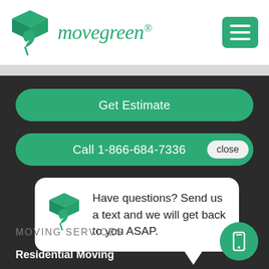[Figure (logo): Movegreen logo with green box and leaf icon, and hamburger menu button on the right]
Get Estimate
Call 1-866-684-7336
Have questions? Send us a text and we will get back to you ASAP.
MOVING SERVICES
Residential Moving